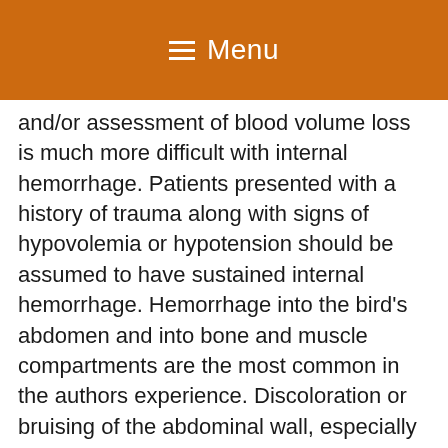Menu
and/or assessment of blood volume loss is much more difficult with internal hemorrhage. Patients presented with a history of trauma along with signs of hypovolemia or hypotension should be assumed to have sustained internal hemorrhage. Hemorrhage into the bird's abdomen and into bone and muscle compartments are the most common in the authors experience. Discoloration or bruising of the abdominal wall, especially along the ventral midline and caudal on the ventral abdomen, may give a clue to hemorrhage. Radiology and endoscopy may aid in locating the site. Removing the feathers from a traumatized limb or the trunk area may aid